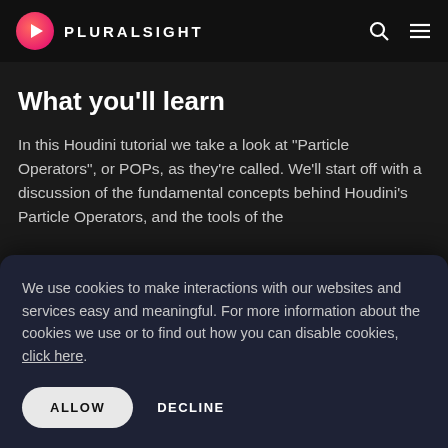PLURALSIGHT
What you'll learn
In this Houdini tutorial we take a look at "Particle Operators", or POPs, as they're called. We'll start off with a discussion of the fundamental concepts behind Houdini's Particle Operators, and the tools of the
We use cookies to make interactions with our websites and services easy and meaningful. For more information about the cookies we use or to find out how you can disable cookies, click here.
ALLOW   DECLINE